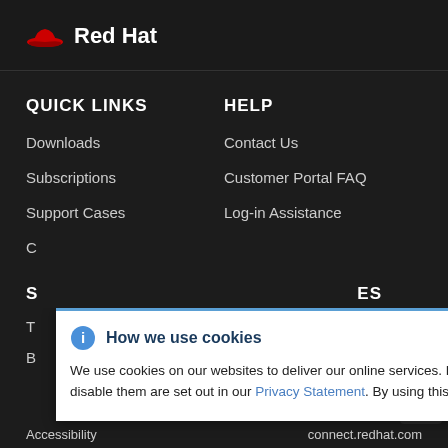[Figure (logo): Red Hat logo with red hat icon and bold white text 'Red Hat']
QUICK LINKS
HELP
Downloads
Contact Us
Subscriptions
Customer Portal FAQ
Support Cases
Log-in Assistance
How we use cookies
We use cookies on our websites to deliver our online services. Details about how we use cookies and how you may disable them are set out in our Privacy Statement. By using this website you agree to our use of cookies.
Accessibility
connect.redhat.com